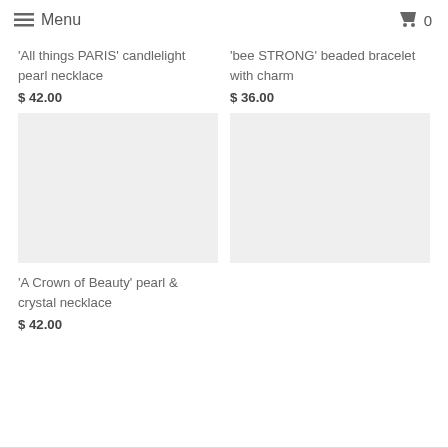Menu  0
'All things PARIS' candlelight pearl necklace
$ 42.00
'bee STRONG' beaded bracelet with charm
$ 36.00
'A Crown of Beauty' pearl & crystal necklace
$ 42.00